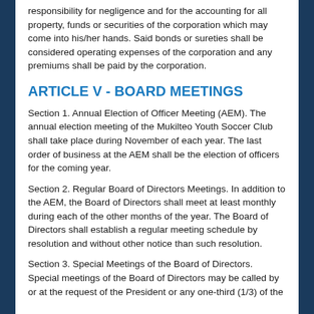responsibility for negligence and for the accounting for all property, funds or securities of the corporation which may come into his/her hands. Said bonds or sureties shall be considered operating expenses of the corporation and any premiums shall be paid by the corporation.
ARTICLE V - BOARD MEETINGS
Section 1. Annual Election of Officer Meeting (AEM). The annual election meeting of the Mukilteo Youth Soccer Club shall take place during November of each year. The last order of business at the AEM shall be the election of officers for the coming year.
Section 2. Regular Board of Directors Meetings. In addition to the AEM, the Board of Directors shall meet at least monthly during each of the other months of the year. The Board of Directors shall establish a regular meeting schedule by resolution and without other notice than such resolution.
Section 3. Special Meetings of the Board of Directors. Special meetings of the Board of Directors may be called by or at the request of the President or any one-third (1/3) of the